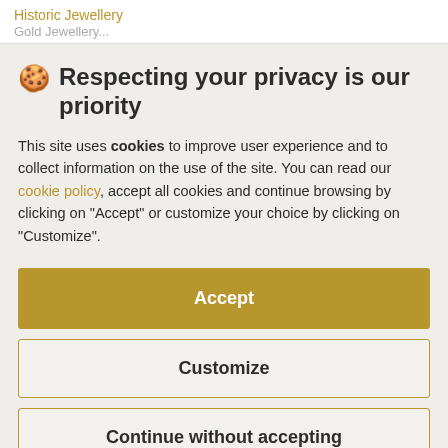Historic Jewellery
🍪 Respecting your privacy is our priority
This site uses cookies to improve user experience and to collect information on the use of the site. You can read our cookie policy, accept all cookies and continue browsing by clicking on "Accept" or customize your choice by clicking on "Customize".
Accept
Customize
Continue without accepting